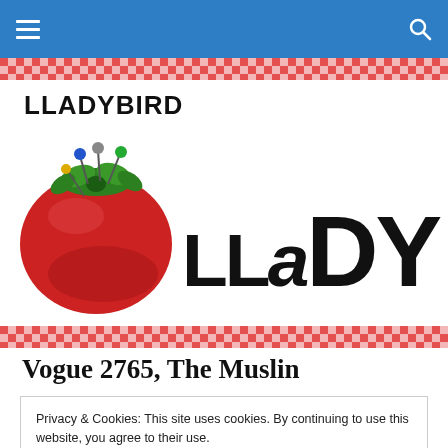Navigation bar with hamburger menu and search icon
LLADYBIRD
[Figure (logo): LLaDYBiRD sewing blog logo with a red tomato pincushion with colorful pins on the left, and the stylized text 'LLaDYBiRD' in large black lettering on the right]
Vogue 2765, The Muslin
Privacy & Cookies: This site uses cookies. By continuing to use this website, you agree to their use.
To find out more, including how to control cookies, see here: Cookie Policy
Close and accept